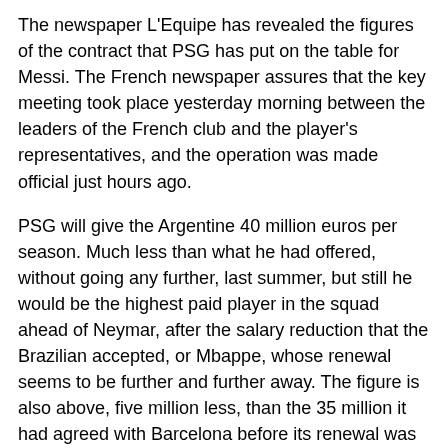The newspaper L'Equipe has revealed the figures of the contract that PSG has put on the table for Messi. The French newspaper assures that the key meeting took place yesterday morning between the leaders of the French club and the player's representatives, and the operation was made official just hours ago.
PSG will give the Argentine 40 million euros per season. Much less than what he had offered, without going any further, last summer, but still he would be the highest paid player in the squad ahead of Neymar, after the salary reduction that the Brazilian accepted, or Mbappe, whose renewal seems to be further and further away. The figure is also above, five million less, than the 35 million it had agreed with Barcelona before its renewal was ruined.
In addition, L'Equipe also reveals that PSG will offer Messi a three-year contract, although the last one will be optional, thus fulfilling one of the player's requirements: having a contract of at least two years. This morning Jorge Messi, Lionel's father, flew to Paris on a private flight to pave the way for his son, who did